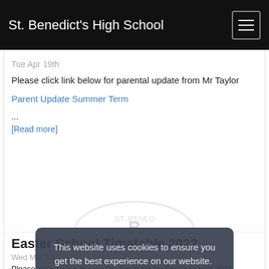St. Benedict's High School
Tue Apr 19th
Please click link below for parental update from Mr Taylor
Parent Update Summer Term
...
[Read more]
[Figure (logo): St. Benedict's High School circular badge/logo watermark]
Easter School Timetable 2022
Wed Mar 30th
Please click on link to view the timetable for Easter School 2022
This website uses cookies to ensure you get the best experience on our website. Learn more
Got it!